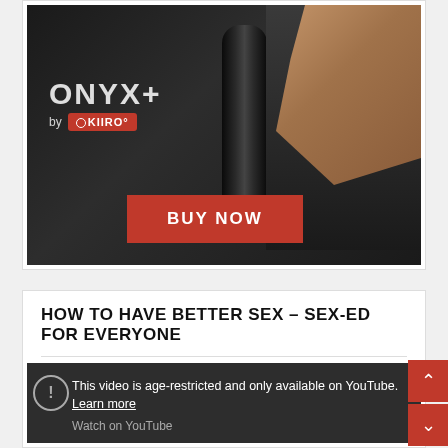[Figure (photo): Advertisement for ONYX+ by KIIRO product. Dark background with cylindrical product and woman figure. Red BUY NOW button at bottom.]
HOW TO HAVE BETTER SEX – SEX-ED FOR EVERYONE
[Figure (screenshot): YouTube video embed showing age-restricted content warning. Dark background with warning icon, text reading 'This video is age-restricted and only available on YouTube. Learn more' and 'Watch on YouTube' link.]